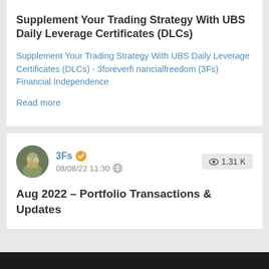Supplement Your Trading Strategy With UBS Daily Leverage Certificates (DLCs)
Supplement Your Trading Strategy With UBS Daily Leverage Certificates (DLCs) - 3foreverfinancialfreedom (3Fs) Financial Independence
Read more
3Fs  08/08/22 11:30  1.31 K views
Aug 2022 – Portfolio Transactions & Updates